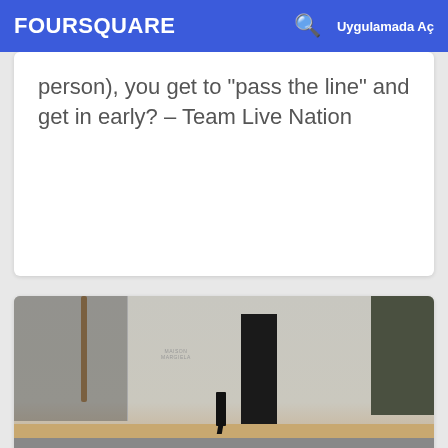FOURSQUARE | Uygulamada Aç
person), you get to "pass the line" and get in early? – Team Live Nation
[Figure (photo): Exterior photo of a Maison Margiela store building with white textured facade, large dark entrance door, glass windows on the left, trees on the right, and a person walking on the sidewalk]
10. Maison Margiela
9970 Santa Monica Blvd, Beverly Hills, CA
Butik · 1 tavsiye
Bravo: Great for Avant Garde items.